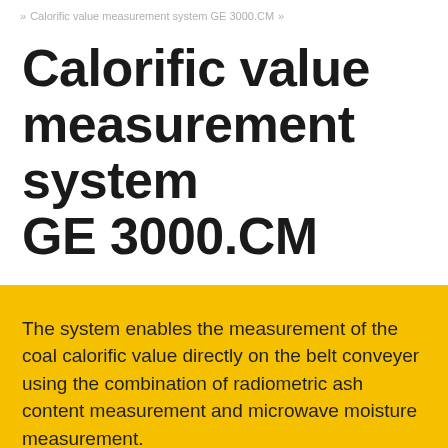» Calorific value measurement system GE 3000.CM »
Calorific value measurement system GE 3000.CM
The system enables the measurement of the coal calorific value directly on the belt conveyer using the combination of radiometric ash content measurement and microwave moisture measurement.